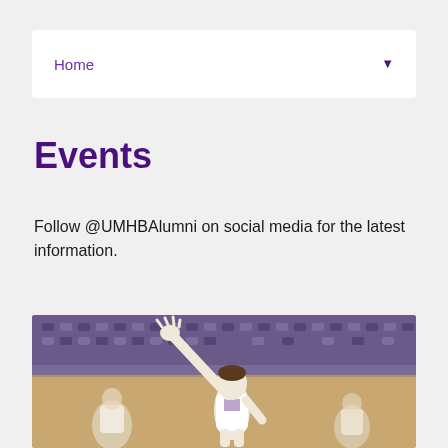Home
Events
Follow @UMHBAlumni on social media for the latest information.
[Figure (photo): A female basketball player in a white uniform reaching up with one arm, likely shooting or defending, in an indoor arena with purple seats in the background and other players visible.]